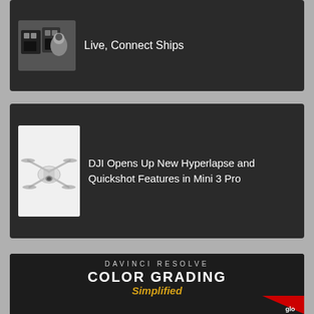[Figure (screenshot): Dark card with product image showing wireless transmitter devices and a person, with text 'Live, Connect Ships']
Live, Connect Ships
[Figure (screenshot): Dark card with image of DJI Mini 3 Pro drone (white drone on white background) with text about new features]
DJI Opens Up New Hyperlapse and Quickshot Features in Mini 3 Pro
[Figure (illustration): DaVinci Resolve Color Grading Simplified promotional banner with color wheel graphics and 'glo' branding in bottom right corner]